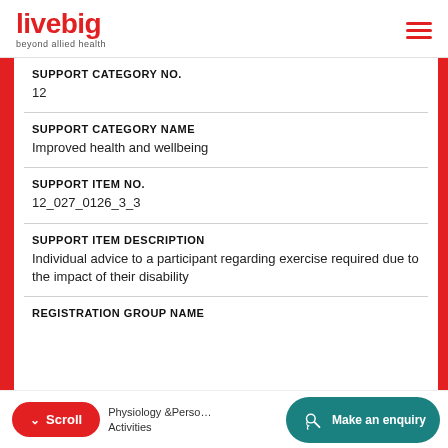livebig — beyond allied health
SUPPORT CATEGORY NO.
12
SUPPORT CATEGORY NAME
Improved health and wellbeing
SUPPORT ITEM NO.
12_027_0126_3_3
SUPPORT ITEM DESCRIPTION
Individual advice to a participant regarding exercise required due to the impact of their disability
REGISTRATION GROUP NAME
Exercise Physiology &Personal Training Activities
Scroll | Make an enquiry